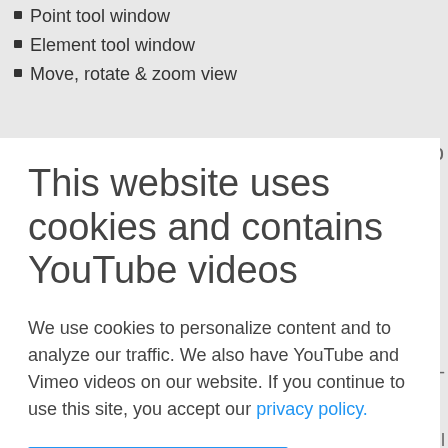Point tool window
Element tool window
Move, rotate & zoom view
This website uses cookies and contains YouTube videos
We use cookies to personalize content and to analyze our traffic. We also have YouTube and Vimeo videos on our website. If you continue to use this site, you accept our privacy policy.
Accept cookies